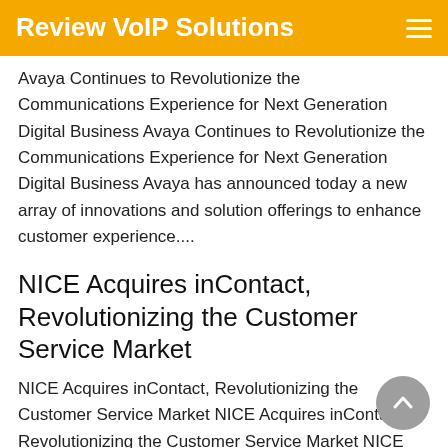Review VoIP Solutions
Avaya Continues to Revolutionize the Communications Experience for Next Generation Digital Business Avaya Continues to Revolutionize the Communications Experience for Next Generation Digital Business Avaya has announced today a new array of innovations and solution offerings to enhance customer experience....
NICE Acquires inContact, Revolutionizing the Customer Service Market
NICE Acquires inContact, Revolutionizing the Customer Service Market NICE Acquires inContact, Revolutionizing the Customer Service Market NICE Systems, the Israeli based provider of workforce optimization solutions, announced the acquisition of inContact, the Salt Lake City based… Source: Get VoIP Blog